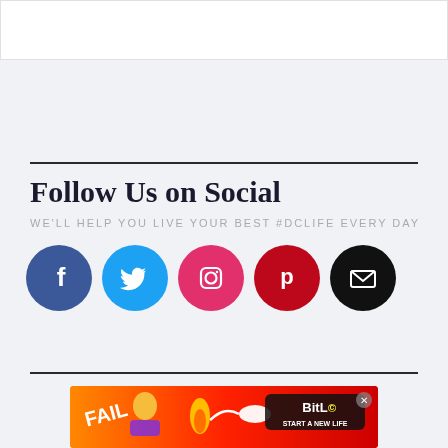[Figure (screenshot): White top bar / header area]
Follow Us on Social
WE'LL HELP YOU LIVE YOUR BEST #DCLIFE EVERY DAY
[Figure (infographic): Row of five social media icon circles: Facebook (blue), Twitter (light blue), Instagram (pink/magenta), Pinterest (dark red), Email (black)]
[Figure (photo): Advertisement banner: BitLife game ad with 'FAIL' text, cartoon character, flames, and 'START A NEW LIFE' text on red/orange background]